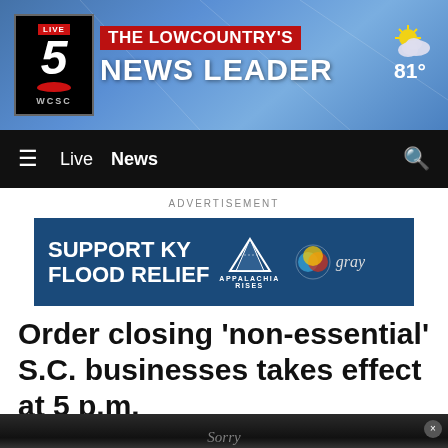LIVE 5 WCSC – THE LOWCOUNTRY'S NEWS LEADER – 81°
≡  Live  News  🔍
ADVERTISEMENT
[Figure (screenshot): Support KY Flood Relief advertisement banner with Appalachia Rises and Gray Television logos]
Order closing 'non-essential' S.C. businesses takes effect at 5 p.m.
[Figure (photo): Dark photo of a Sorry sign on a business door]